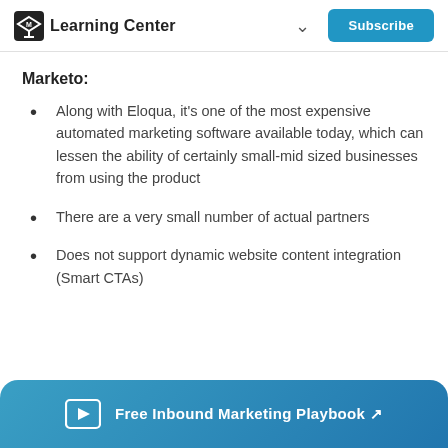Learning Center | Subscribe
Marketo:
Along with Eloqua, it's one of the most expensive automated marketing software available today, which can lessen the ability of certainly small-mid sized businesses from using the product
There are a very small number of actual partners
Does not support dynamic website content integration (Smart CTAs)
Free Inbound Marketing Playbook ↗